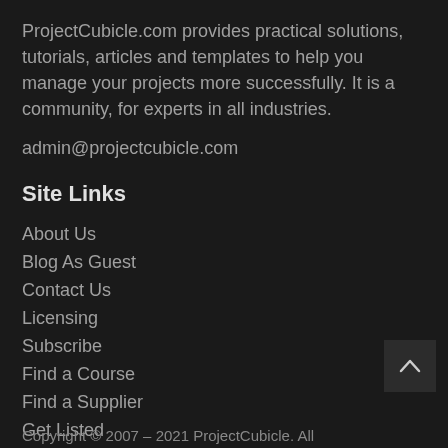ProjectCubicle.com provides practical solutions, tutorials, articles and templates to help you manage your projects more successfully. It is a community, for experts in all industries.
admin@projectcubicle.com
Site Links
About Us
Blog As Guest
Contact Us
Licensing
Subscribe
Find a Course
Find a Supplier
Get Listed
Copyright © 2007 – 2021 ProjectCubicle. All